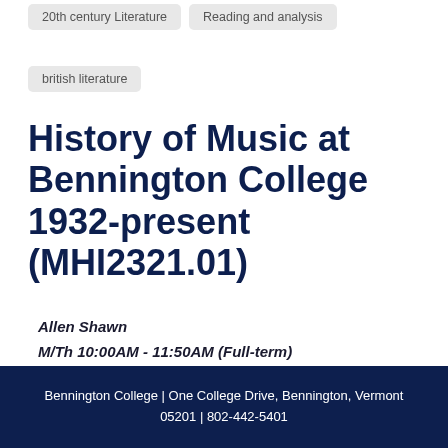20th century Literature
Reading and analysis
british literature
History of Music at Bennington College 1932-present (MHI2321.01)
Allen Shawn
M/Th 10:00AM - 11:50AM (Full-term)
Delivery Method: Remotely accessible
Bennington College  |  One College Drive, Bennington, Vermont 05201  |  802-442-5401